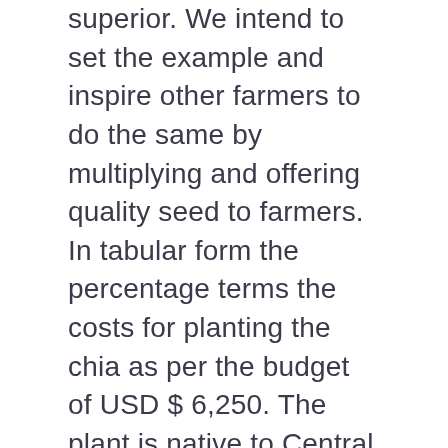superior. We intend to set the example and inspire other farmers to do the same by multiplying and offering quality seed to farmers. In tabular form the percentage terms the costs for planting the chia as per the budget of USD $ 6,250. The plant is native to Central and Southern Mexico and Guatemala. Fig. The Home of Chia Organic Brand-the Only Organic Certified Chia seeds in East Africa Our Mission To offer inclusive, agro-based extension services and solutions that socially and economically empower farmers, transform livelihoods, give dignity and expand opportunities. letter-spacing: 1.5px; More so, the rising popularity of vegan protein-based foods is promoting the global demand for chia seeds in the food industry.